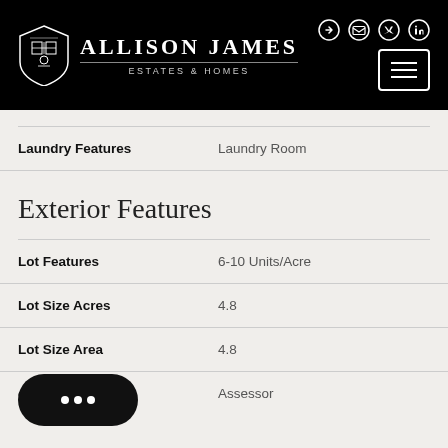[Figure (logo): Allison James Estates & Homes logo with shield crest on black header background]
| Feature | Value |
| --- | --- |
| Laundry Features | Laundry Room |
| Lot Features | 6-10 Units/Acre |
| Lot Size Acres | 4.8 |
| Lot Size Area | 4.8 |
| [Lot Size] Source | Assessor |
Exterior Features